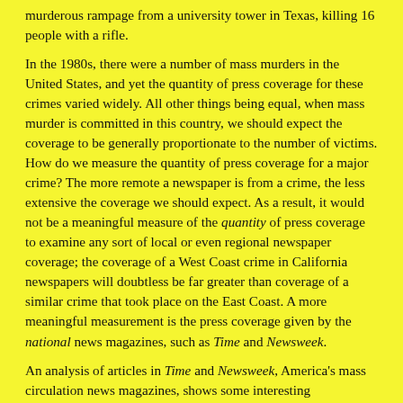murderous rampage from a university tower in Texas, killing 16 people with a rifle.
In the 1980s, there were a number of mass murders in the United States, and yet the quantity of press coverage for these crimes varied widely. All other things being equal, when mass murder is committed in this country, we should expect the coverage to be generally proportionate to the number of victims. How do we measure the quantity of press coverage for a major crime? The more remote a newspaper is from a crime, the less extensive the coverage we should expect. As a result, it would not be a meaningful measure of the quantity of press coverage to examine any sort of local or even regional newspaper coverage; the coverage of a West Coast crime in California newspapers will doubtless be far greater than coverage of a similar crime that took place on the East Coast. A more meaningful measurement is the press coverage given by the national news magazines, such as Time and Newsweek.
An analysis of articles in Time and Newsweek, America's mass circulation news magazines, shows some interesting characteristics of how mass murder in America is covered. For the purposes of this paper, any article which mentioned a mass murderer, even by referring to his specific criminal act, was considered to be "fame" in the sense as defined earlier...